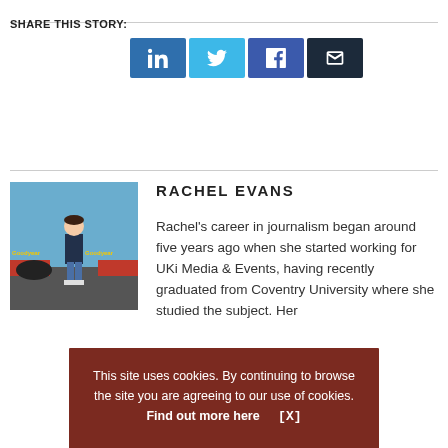SHARE THIS STORY:
[Figure (infographic): Social share buttons: LinkedIn (blue), Twitter (light blue), Facebook (dark blue), Email (dark)]
[Figure (photo): Photo of Rachel Evans standing at a racing track with Goodyear branding in the background]
RACHEL EVANS
Rachel's career in journalism began around five years ago when she started working for UKi Media & Events, having recently graduated from Coventry University where she studied the subject. Her
This site uses cookies. By continuing to browse the site you are agreeing to our use of cookies. Find out more here   [X]